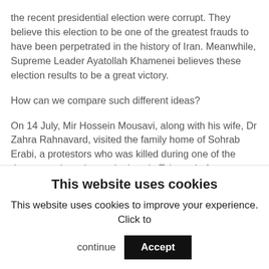the recent presidential election were corrupt. They believe this election to be one of the greatest frauds to have been perpetrated in the history of Iran. Meanwhile, Supreme Leader Ayatollah Khamenei believes these election results to be a great victory.
How can we compare such different ideas?
On 14 July, Mir Hossein Mousavi, along with his wife, Dr Zahra Rahnavard, visited the family home of Sohrab Erabi, a protestors who was killed during one of the demonstrations that took place in Tehran. In fact, Sohrab Erabi's family were only informed of his death 25 days after he had been killed. He was shot in the heart. Therefore how can Mir Hossein Mousavi, his
This website uses cookies
This website uses cookies to improve your experience. Click to continue